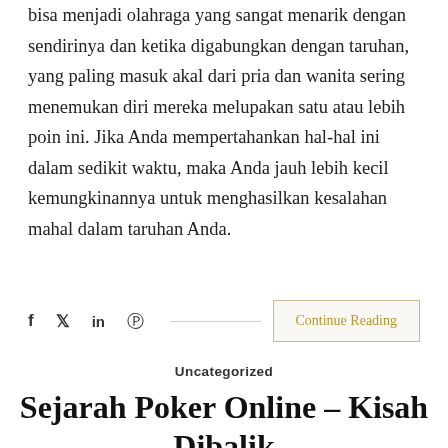bisa menjadi olahraga yang sangat menarik dengan sendirinya dan ketika digabungkan dengan taruhan, yang paling masuk akal dari pria dan wanita sering menemukan diri mereka melupakan satu atau lebih poin ini. Jika Anda mempertahankan hal-hal ini dalam sedikit waktu, maka Anda jauh lebih kecil kemungkinannya untuk menghasilkan kesalahan mahal dalam taruhan Anda.
f  𝕏  in   Pinterest  Continue Reading
Uncategorized
Sejarah Poker Online – Kisah Dibalik Hit Sensasional
January 29, 2020  No Comments